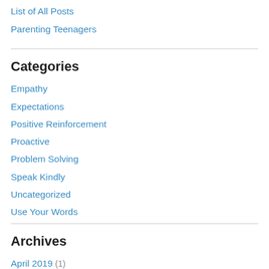List of All Posts
Parenting Teenagers
Categories
Empathy
Expectations
Positive Reinforcement
Proactive
Problem Solving
Speak Kindly
Uncategorized
Use Your Words
Archives
April 2019 (1)
February 2019 (1)
December 2018 (1)